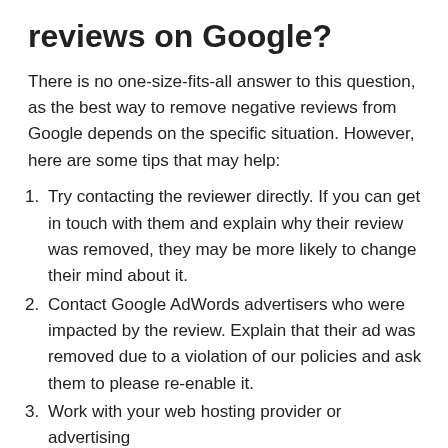reviews on Google?
There is no one-size-fits-all answer to this question, as the best way to remove negative reviews from Google depends on the specific situation. However, here are some tips that may help:
Try contacting the reviewer directly. If you can get in touch with them and explain why their review was removed, they may be more likely to change their mind about it.
Contact Google AdWords advertisers who were impacted by the review. Explain that their ad was removed due to a violation of our policies and ask them to please re-enable it.
Work with your web hosting provider or advertising